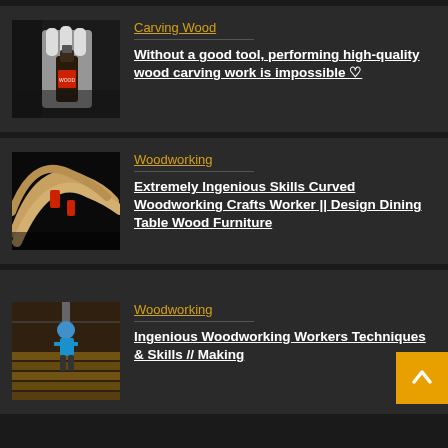[Figure (photo): A gloved hand holding a small wood stain or finish product bottle]
Carving Wood
Without a good tool, performing high-quality wood carving work is impossible 🤍
[Figure (photo): Curved woodworking crafts, bent wood pieces with red clamps]
Woodworking
Extremely Ingenious Skills Curved Woodworking Crafts Worker || Design Dining Table Wood Furniture
[Figure (photo): Worker in a woodworking shop, teal shirt, working on lumber]
Woodworking
Ingenious Woodworking Workers Techniques & Skills // Making